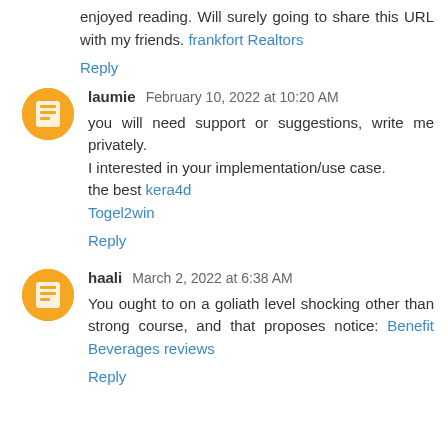enjoyed reading. Will surely going to share this URL with my friends. frankfort Realtors
Reply
laumie  February 10, 2022 at 10:20 AM
you will need support or suggestions, write me privately. I interested in your implementation/use case. the best kera4d Togel2win
Reply
haali  March 2, 2022 at 6:38 AM
You ought to on a goliath level shocking other than strong course, and that proposes notice: Benefit Beverages reviews
Reply